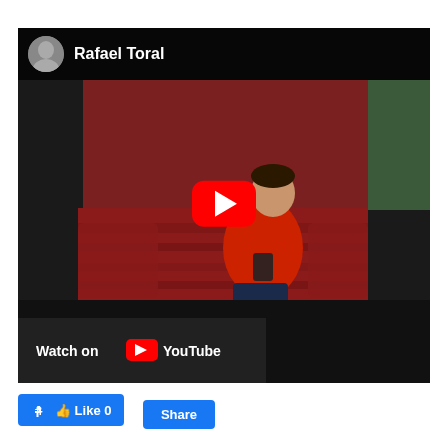[Figure (screenshot): YouTube video embed showing a man in a red jacket sitting on a red patterned couch against a dark red wall, with a YouTube play button overlay and 'Watch on YouTube' bottom bar. Channel name 'Rafael Toral' shown in top bar with avatar.]
Like 0
Share